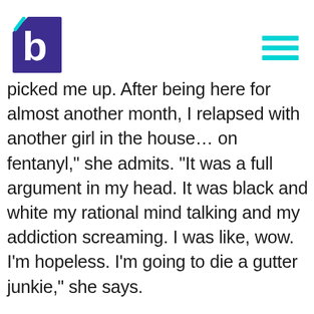[Logo: Jewish recovery organization] [Hamburger menu icon]
picked me up. After being here for almost another month, I relapsed with another girl in the house… on fentanyl," she admits. "It was a full argument in my head. It was black and white my rational mind talking and my addiction screaming. I was like, wow. I'm hopeless. I'm going to die a gutter junkie," she says.
Reluctantly, Marissa agreed to share part of her story during the holiday of Shavuot. "I ended up writing a poem about my best friend's overdose, and I got super vulnerable in front of the whole community,